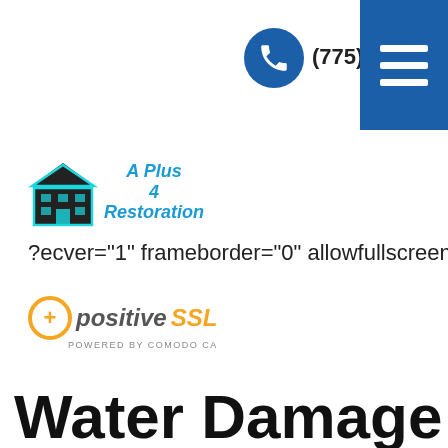(775) 502-0470
[Figure (logo): A Plus 4 Restoration company logo with building icon]
?ecver="1" frameborder="0" allowfullscreen>
[Figure (logo): positiveSSL powered by Comodo CA badge]
Water Damage